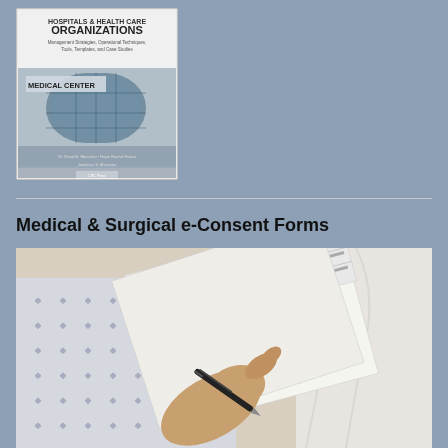[Figure (photo): Book cover for 'Hospitals & Health Care Organizations: Management Strategies, Operational Techniques, Tools, Templates, and Case Studies' showing a medical center building exterior]
Medical & Surgical e-Consent Forms
[Figure (photo): Close-up photo of a patient in a hospital gown holding a pen and signing a consent form on paper documents]